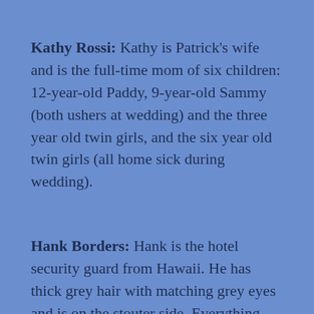Kathy Rossi: Kathy is Patrick's wife and is the full-time mom of six children: 12-year-old Paddy, 9-year-old Sammy (both ushers at wedding) and the three year old twin girls, and the six year old twin girls (all home sick during wedding).
Hank Borders: Hank is the hotel security guard from Hawaii. He has thick grey hair with matching grey eyes and is on the stouter side. Everything about him seems average, but maybe there is more to him. He stands by